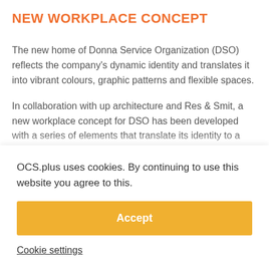NEW WORKPLACE CONCEPT
The new home of Donna Service Organization (DSO) reflects the company's dynamic identity and translates it into vibrant colours, graphic patterns and flexible spaces.
In collaboration with up architecture and Res & Smit, a new workplace concept for DSO has been developed with a series of elements that translate its identity to a real...
OCS.plus uses cookies. By continuing to use this website you agree to this.
Accept
Cookie settings